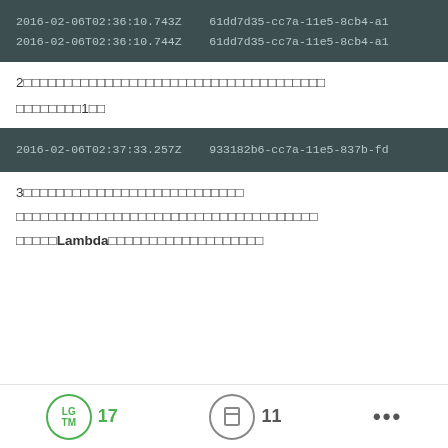2016-02-06T02:36:10.743Z   61dd7d35-cc7a-11e5-8cb4-a1
2016-02-06T02:36:10.744Z   61dd7d35-cc7a-11e5-8cb4-a1
2□□□□□□□□□□□□□□□□□□□□□□□□□□□□□□□□□
□□□□□□□□1□□
2016-02-06T02:37:33.257Z   933182b6-cc7a-11e5-837b-fd
3□□□□□□□□□□□□□□□□□□□□□□□□□
□□□□□□□□□□□□□□□□□□□□□□□□□□□□□□□□□□□
□□□□□Lambda□□□□□□□□□□□□□□□□□□□
LGTM 17   [bookmark] 11   ...